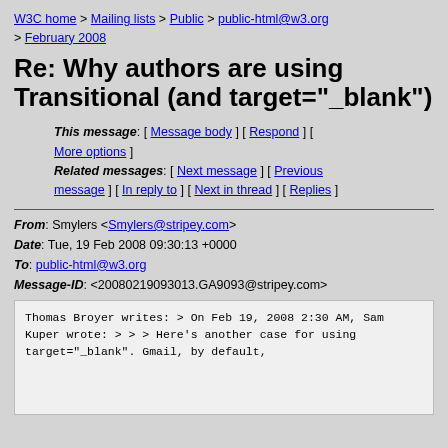W3C home > Mailing lists > Public > public-html@w3.org > February 2008
Re: Why authors are using Transitional (and target="_blank")
This message: [ Message body ] [ Respond ] [ More options ] Related messages: [ Next message ] [ Previous message ] [ In reply to ] [ Next in thread ] [ Replies ]
From: Smylers <Smylers@stripey.com>
Date: Tue, 19 Feb 2008 09:30:13 +0000
To: public-html@w3.org
Message-ID: <20080219093013.GA9093@stripey.com>
Thomas Broyer writes:

> On Feb 19, 2008 2:30 AM, Sam Kuper wrote:
>
> > Here's another case for using target="_blank". Gmail, by default,